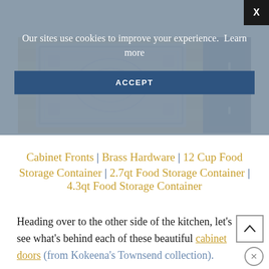[Figure (photo): Photo of a patterned rug on hardwood floor with a navy blue cabinet visible on the right edge]
Cabinet Fronts | Brass Hardware | 12 Cup Food Storage Container | 2.7qt Food Storage Container | 4.3qt Food Storage Container
Heading over to the other side of the kitchen, let's see what's behind each of these beautiful cabinet doors (from Kokeena's Townsend collection).